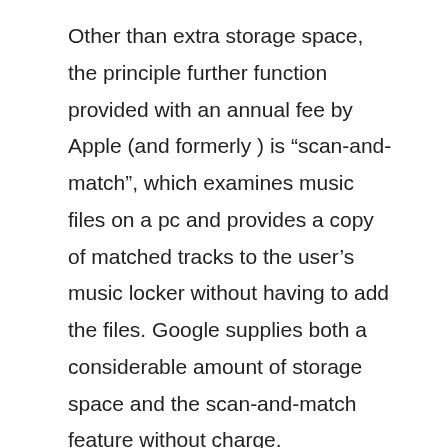Other than extra storage space, the principle further function provided with an annual fee by Apple (and formerly ) is “scan-and-match”, which examines music files on a pc and provides a copy of matched tracks to the user’s music locker without having to add the files. Google supplies both a considerable amount of storage space and the scan-and-match feature without charge.
For many who do not know, APE (Monkey) audio format is utilized by Windows customers primarily. It is a free lossless audio compression format with a particularly competitive compression algorithm. Though software program is accessible for Linux, Monkey’s Audio is as unpopular among the customers of this working